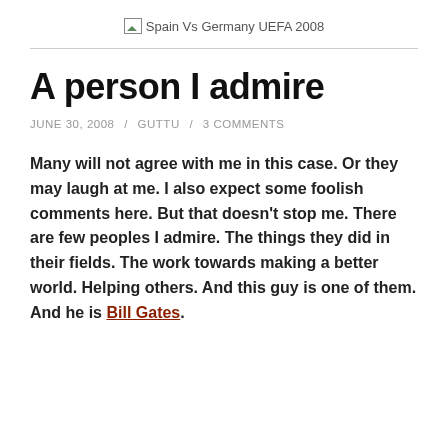[Figure (other): Broken image placeholder with label 'Spain Vs Germany UEFA 2008']
A person I admire
JUNE 30, 2008 / GUTTU / 3 COMMENTS
Many will not agree with me in this case. Or they may laugh at me. I also expect some foolish comments here. But that doesn't stop me. There are few peoples I admire. The things they did in their fields. The work towards making a better world. Helping others. And this guy is one of them. And he is Bill Gates.